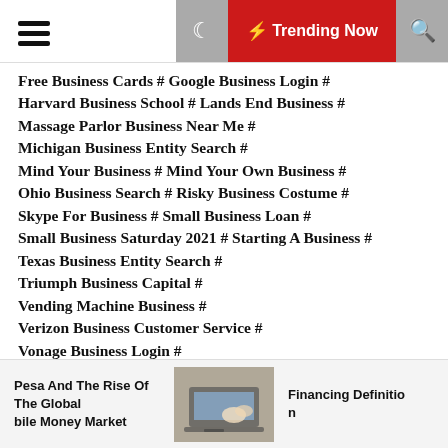≡ ☾ ⚡ Trending Now 🔍
Free Business Cards # Google Business Login # Harvard Business School # Lands End Business # Massage Parlor Business Near Me # Michigan Business Entity Search # Mind Your Business # Mind Your Own Business # Ohio Business Search # Risky Business Costume # Skype For Business # Small Business Loan # Small Business Saturday 2021 # Starting A Business # Texas Business Entity Search # Triumph Business Capital # Vending Machine Business # Verizon Business Customer Service # Vonage Business Login # Wells Fargo Business Account # Yahoo Small Business # Yahoo Small Business Login
Pesa And The Rise Of The Global bile Money Market
Financing Definition